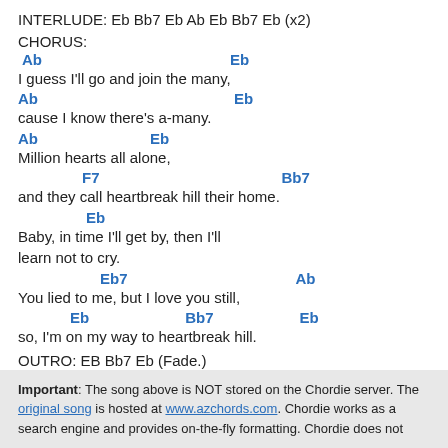INTERLUDE: Eb Bb7 Eb Ab Eb Bb7 Eb (x2)
CHORUS:
Ab                              Eb
I guess I'll go and join the many,
Ab                              Eb
cause I know there's a-many.
Ab               Eb
Million hearts all alone,
F7                             Bb7
and they call heartbreak hill their home.
Eb
Baby, in time I'll get by, then I'll
learn not to cry.
Eb7                         Ab
You lied to me, but I love you still,
Eb              Bb7              Eb
so, I'm on my way to heartbreak hill.
OUTRO: EB Bb7 Eb (Fade.)
Important: The song above is NOT stored on the Chordie server. The original song is hosted at www.azchords.com. Chordie works as a search engine and provides on-the-fly formatting. Chordie does not